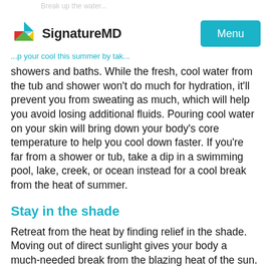SignatureMD | Menu
showers and baths. While the fresh, cool water from the tub and shower won't do much for hydration, it'll prevent you from sweating as much, which will help you avoid losing additional fluids. Pouring cool water on your skin will bring down your body's core temperature to help you cool down faster. If you're far from a shower or tub, take a dip in a swimming pool, lake, creek, or ocean instead for a cool break from the heat of summer.
Stay in the shade
Retreat from the heat by finding relief in the shade. Moving out of direct sunlight gives your body a much-needed break from the blazing heat of the sun. Wherever you are outdoors, look for shady spots to stay cool.